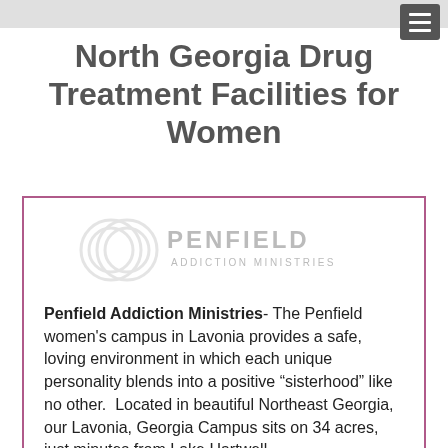North Georgia Drug Treatment Facilities for Women
[Figure (logo): Penfield Addiction Ministries logo — circular overlapping rings watermark with PENFIELD text and ADDICTION MINISTRIES subtitle]
Penfield Addiction Ministries- The Penfield women's campus in Lavonia provides a safe, loving environment in which each unique personality blends into a positive “sisterhood” like no other.  Located in beautiful Northeast Georgia, our Lavonia, Georgia Campus sits on 34 acres, just minutes from Lake Hartwell.
(706) 453-7929